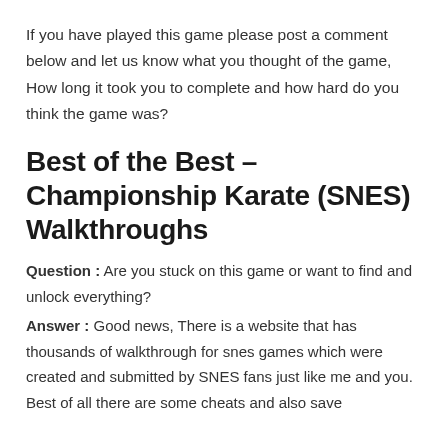If you have played this game please post a comment below and let us know what you thought of the game, How long it took you to complete and how hard do you think the game was?
Best of the Best – Championship Karate (SNES) Walkthroughs
Question : Are you stuck on this game or want to find and unlock everything?
Answer : Good news, There is a website that has thousands of walkthrough for snes games which were created and submitted by SNES fans just like me and you.  Best of all there are some cheats and also save